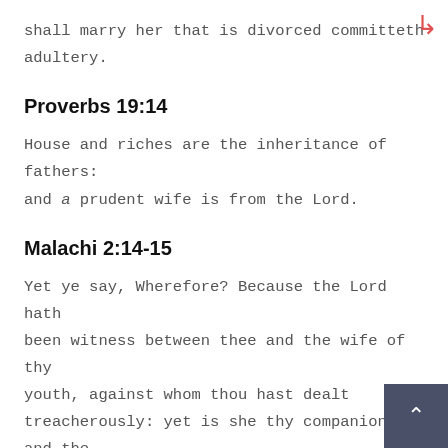shall marry her that is divorced committeth adultery.
Proverbs 19:14
House and riches are the inheritance of fathers: and a prudent wife is from the Lord.
Malachi 2:14-15
Yet ye say, Wherefore? Because the Lord hath been witness between thee and the wife of thy youth, against whom thou hast dealt treacherously: yet is she thy companion, and the wife of thy covenant. And did not he make one? Yet had he the residue of the spirit. And